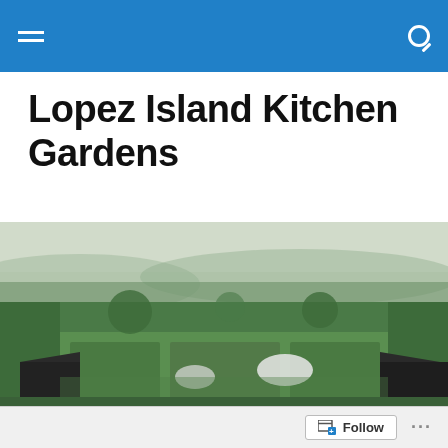Lopez Island Kitchen Gardens – navigation bar with hamburger menu and search icon
Lopez Island Kitchen Gardens
[Figure (photo): Aerial view of a kitchen garden enclosed by tall hedges with raised planting beds and polytunnels, surrounded by misty countryside fields and trees]
MONTHLY ARCHIVES: OCTOBER 2015
Farm-to-table Meals in Italy
Follow